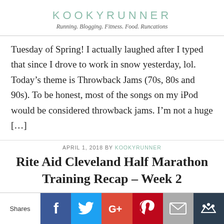KOOKYRUNNER
Running. Blogging. Fitness. Food. Runcations
Tuesday of Spring! I actually laughed after I typed that since I drove to work in snow yesterday, lol. Today’s theme is Throwback Jams (70s, 80s and 90s). To be honest, most of the songs on my iPod would be considered throwback jams. I’m not a huge […]
APRIL 1, 2018 BY KOOKYRUNNER
Rite Aid Cleveland Half Marathon Training Recap – Week 2